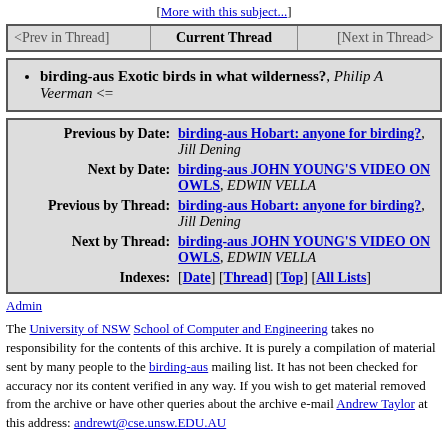[More with this subject...]
| <Prev in Thread] | Current Thread | [Next in Thread> |
| --- | --- | --- |
birding-aus Exotic birds in what wilderness?, Philip A Veerman <=
| Previous by Date: | birding-aus Hobart: anyone for birding?, Jill Dening |
| Next by Date: | birding-aus JOHN YOUNG'S VIDEO ON OWLS, EDWIN VELLA |
| Previous by Thread: | birding-aus Hobart: anyone for birding?, Jill Dening |
| Next by Thread: | birding-aus JOHN YOUNG'S VIDEO ON OWLS, EDWIN VELLA |
| Indexes: | [Date] [Thread] [Top] [All Lists] |
Admin
The University of NSW School of Computer and Engineering takes no responsibility for the contents of this archive. It is purely a compilation of material sent by many people to the birding-aus mailing list. It has not been checked for accuracy nor its content verified in any way. If you wish to get material removed from the archive or have other queries about the archive e-mail Andrew Taylor at this address: andrewt@cse.unsw.EDU.AU